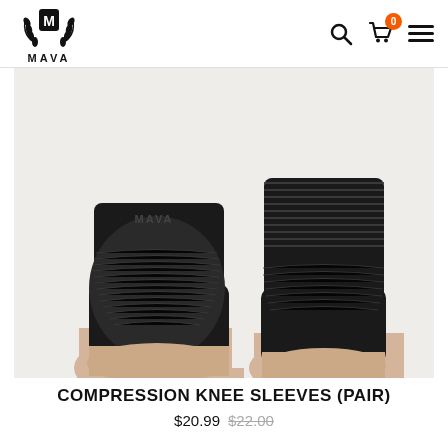[Figure (logo): MAVA sports brand logo — laurel wreath with M shield icon and MAVA text below]
[Figure (photo): Two black compression knee sleeves shown on legs — front/side views. Sleeves are black with dark grey ribbed/textured pattern at the knee area.]
COMPRESSION KNEE SLEEVES (PAIR)
$20.99 $22.00